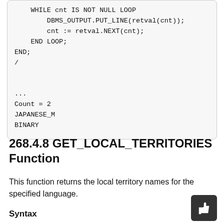WHILE cnt IS NOT NULL LOOP
        DBMS_OUTPUT.PUT_LINE(retval(cnt));
        cnt := retval.NEXT(cnt);
    END LOOP;
END;
/


...
Count = 2
JAPANESE_M
BINARY
268.4.8 GET_LOCAL_TERRITORIES Function
This function returns the local territory names for the specified language.
Syntax